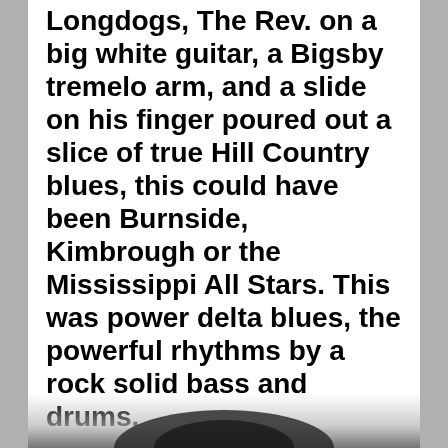Longdogs, The Rev. on a big white guitar, a Bigsby tremelo arm, and a slide on his finger poured out a slice of true Hill Country blues, this could have been Burnside, Kimbrough or the Mississippi All Stars. This was power delta blues, the powerful rhythms by a rock solid bass and drums.
The songs were all self written, and you couldn't have started better than with a band that brought the whole place awake,